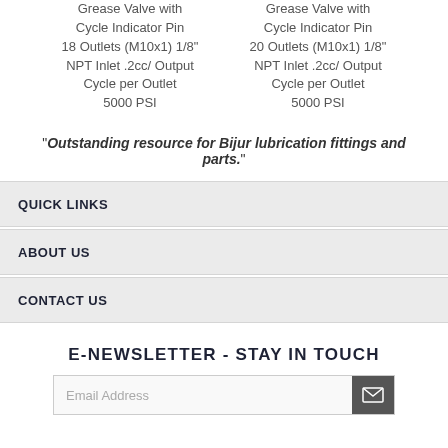Grease Valve with Cycle Indicator Pin 18 Outlets (M10x1) 1/8" NPT Inlet .2cc/ Output Cycle per Outlet 5000 PSI
Grease Valve with Cycle Indicator Pin 20 Outlets (M10x1) 1/8" NPT Inlet .2cc/ Output Cycle per Outlet 5000 PSI
"Outstanding resource for Bijur lubrication fittings and parts."
QUICK LINKS
ABOUT US
CONTACT US
E-NEWSLETTER - STAY IN TOUCH